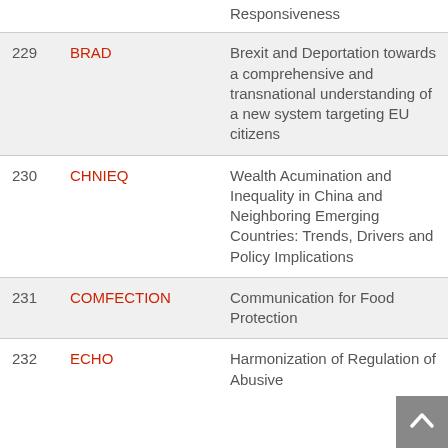| # | Code | Title |
| --- | --- | --- |
|  |  | Responsiveness |
| 229 | BRAD | Brexit and Deportation towards a comprehensive and transnational understanding of a new system targeting EU citizens |
| 230 | CHNIEQ | Wealth Acumination and Inequality in China and Neighboring Emerging Countries: Trends, Drivers and Policy Implications |
| 231 | COMFECTION | Communication for Food Protection |
| 232 | ECHO | Harmonization of Regulation of Abusive... |